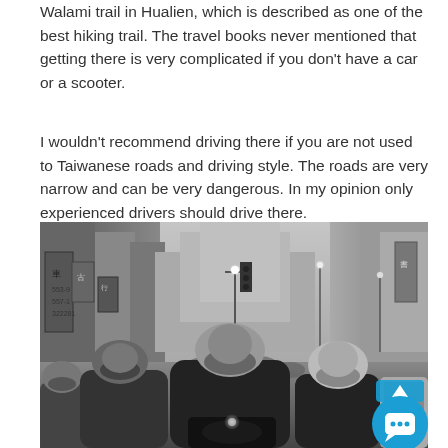Walami trail in Hualien, which is described as one of the best hiking trail. The travel books never mentioned that getting there is very complicated if you don't have a car or a scooter.
I wouldn't recommend driving there if you are not used to Taiwanese roads and driving style. The roads are very narrow and can be very dangerous. In my opinion only experienced drivers should drive there.
[Figure (photo): Black and white photograph of a busy Taiwanese street with multiple scooter riders in the foreground wearing helmets, city buildings and street lights visible in the background, with Chinese signage on buildings.]